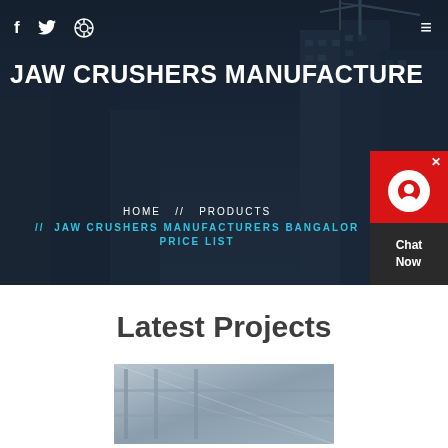[Figure (screenshot): Hero banner with dark photo of construction site / city buildings with cranes in background]
f  [twitter icon]  [dribbble icon]  [hamburger menu]
JAW CRUSHERS MANUFACTURE
HOME  //  PRODUCTS  //  JAW CRUSHERS MANUFACTURERS BANGALOR PRICE LIST
Latest Projects
[Figure (photo): Construction/industrial project thumbnail showing steel structure interior]